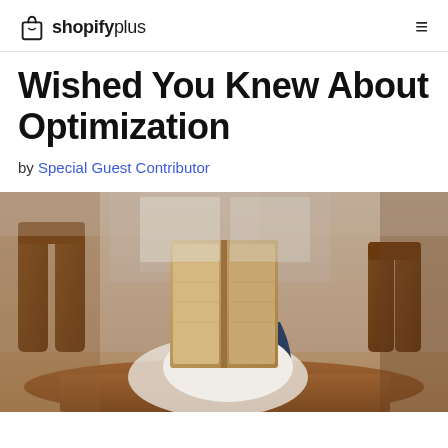shopifyplus
Wished You Knew About Optimization
by Special Guest Contributor
[Figure (photo): Person sitting at a wooden table holding an open book in front of their face, obscuring their face. Warm cafe/restaurant setting with wooden chairs and soft natural light.]